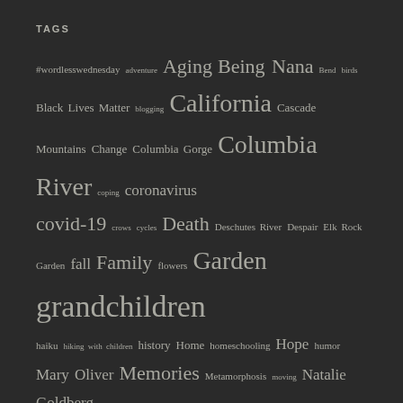TAGS
#wordlesswednesday adventure Aging Being Nana Bend birds Black Lives Matter blogging California Cascade Mountains Change Columbia Gorge Columbia River coping coronavirus covid-19 crows cycles Death Deschutes River Despair Elk Rock Garden fall Family flowers Garden grandchildren haiku hiking with children history Home homeschooling Hope humor Mary Oliver Memories Metamorphosis moving Natalie Goldberg Nature neighborhood walk New City new life Oregon Oregon Coast Pacific Northwest Pandemic pandemic travel Politics Portland Quarantine Retirement Ridgefield National Wildlife